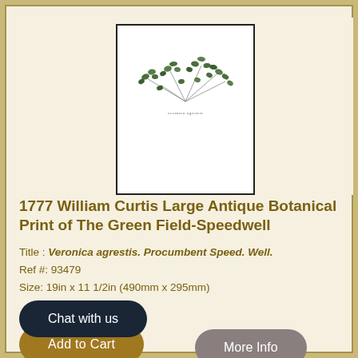[Figure (photo): Antique botanical print of Veronica agrestis (Green Field-Speedwell) showing a spreading plant with small green leaves, displayed in a black-bordered frame on white background.]
1777 William Curtis Large Antique Botanical Print of The Green Field-Speedwell
Title : Veronica agrestis. Procumbent Speed. Well.
Ref #: 93479
Size: 19in x 11 1/2in (490mm x 295mm)